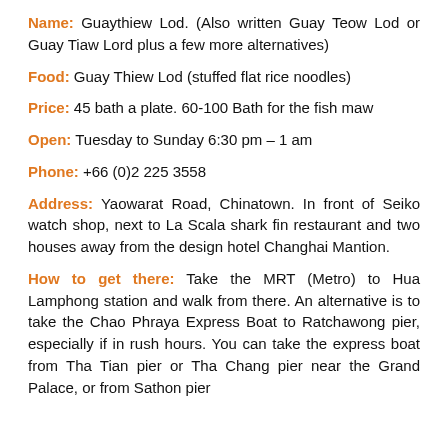Name: Guaythiew Lod. (Also written Guay Teow Lod or Guay Tiaw Lord plus a few more alternatives)
Food: Guay Thiew Lod (stuffed flat rice noodles)
Price: 45 bath a plate. 60-100 Bath for the fish maw
Open: Tuesday to Sunday 6:30 pm – 1 am
Phone: +66 (0)2 225 3558
Address: Yaowarat Road, Chinatown. In front of Seiko watch shop, next to La Scala shark fin restaurant and two houses away from the design hotel Changhai Mantion.
How to get there: Take the MRT (Metro) to Hua Lamphong station and walk from there. An alternative is to take the Chao Phraya Express Boat to Ratchawong pier, especially if in rush hours. You can take the express boat from Tha Tian pier or Tha Chang pier near the Grand Palace, or from Sathon pier